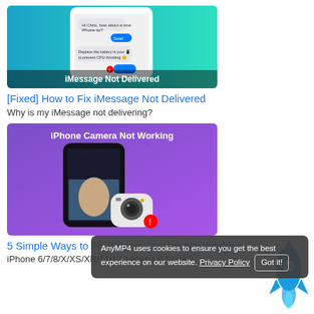[Figure (screenshot): iMessage Not Delivered thumbnail image with iPhone showing message conversation on blue/teal background]
[Fixed] How to Fix iMessage Not Delivered
Why is my iMessage not delivering?
[Figure (screenshot): iPhone Camera Not Working thumbnail image with iPhone showing camera app on purple background with camera icon and error badge]
5 Simple Ways to Fix iPhone Camera Not Working
iPhone 6/7/8/X/XS/XR/11/12 camera is black?
AnyMP4 uses cookies to ensure you get the best experience on our website. Privacy Policy Got it!